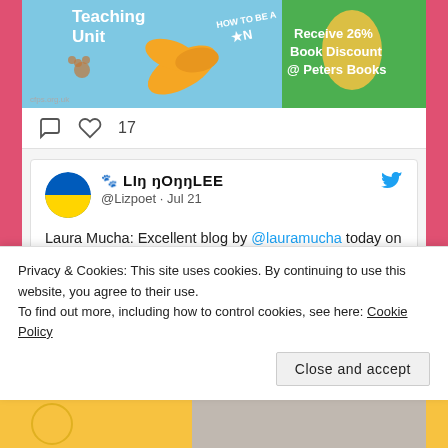[Figure (screenshot): Top banner image showing a children's book teaching unit with flowers and paw prints, and text 'Receive 26% Book Discount @ Peters Books']
[Figure (screenshot): Social media icons row: comment bubble icon and heart icon with count 17]
17
[Figure (screenshot): Tweet card from @Lizpoet (Liz LoonLee) on Jul 21 with Ukraine flag avatar and Twitter bird icon]
Laura Mucha: Excellent blog by @lauramucha today on Children's Poetry Summit @kidspoetsummit  The Belonging of Books childrenspoetrysummit.com/2022/07/21/lau… via @kidspoetsummit
Privacy & Cookies: This site uses cookies. By continuing to use this website, you agree to their use.
To find out more, including how to control cookies, see here: Cookie Policy
Close and accept